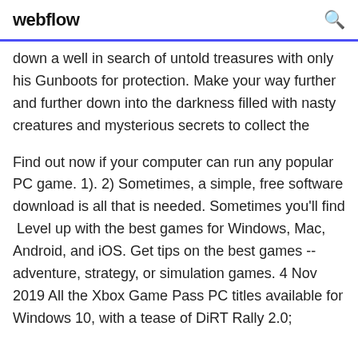webflow
down a well in search of untold treasures with only his Gunboots for protection. Make your way further and further down into the darkness filled with nasty creatures and mysterious secrets to collect the
Find out now if your computer can run any popular PC game. 1). 2) Sometimes, a simple, free software download is all that is needed. Sometimes you'll find  Level up with the best games for Windows, Mac, Android, and iOS. Get tips on the best games -- adventure, strategy, or simulation games. 4 Nov 2019 All the Xbox Game Pass PC titles available for Windows 10, with a tease of DiRT Rally 2.0;